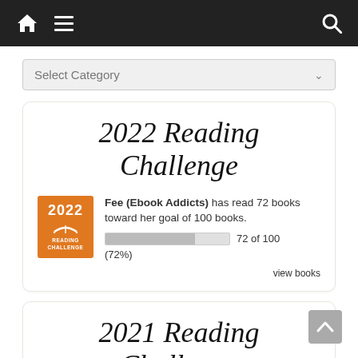Navigation bar with home icon, hamburger menu, and search icon
Select Category
2022 Reading Challenge
Fee (Ebook Addicts) has read 72 books toward her goal of 100 books. 72 of 100 (72%)
view books
2021 Reading Challenge